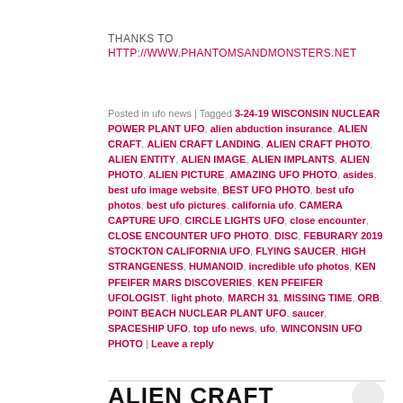THANKS TO
HTTP://WWW.PHANTOMSANDMONSTERS.NET
Posted in ufo news | Tagged 3-24-19 WISCONSIN NUCLEAR POWER PLANT UFO, alien abduction insurance, ALIEN CRAFT, ALIEN CRAFT LANDING, ALIEN CRAFT PHOTO, ALIEN ENTITY, ALIEN IMAGE, ALIEN IMPLANTS, ALIEN PHOTO, ALIEN PICTURE, AMAZING UFO PHOTO, asides, best ufo image website, BEST UFO PHOTO, best ufo photos, best ufo pictures, california ufo, CAMERA CAPTURE UFO, CIRCLE LIGHTS UFO, close encounter, CLOSE ENCOUNTER UFO PHOTO, DISC, FEBURARY 2019 STOCKTON CALIFORNIA UFO, FLYING SAUCER, HIGH STRANGENESS, HUMANOID, incredible ufo photos, KEN PFEIFER MARS DISCOVERIES, KEN PFEIFER UFOLOGIST, light photo, MARCH 31, MISSING TIME, ORB, POINT BEACH NUCLEAR PLANT UFO, saucer, SPACESHIP UFO, top ufo news, ufo, WINCONSIN UFO PHOTO | Leave a reply
ALIEN CRAFT